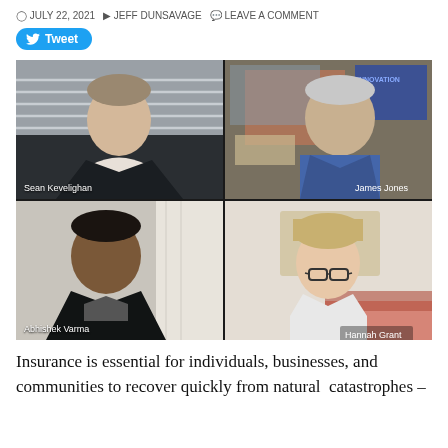JULY 22, 2021  JEFF DUNSAVAGE  LEAVE A COMMENT
[Figure (screenshot): Video conference screenshot showing four participants in a 2x2 grid: top-left Sean Kevelighan, top-right James Jones, bottom-left Abhishek Varma, bottom-right Hannah Grant]
Insurance is essential for individuals, businesses, and communities to recover quickly from natural catastrophes –